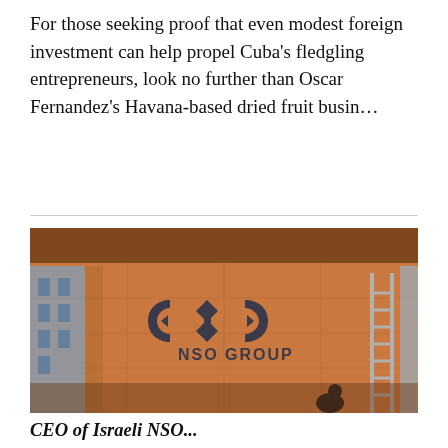For those seeking proof that even modest foreign investment can help propel Cuba's fledgling entrepreneurs, look no further than Oscar Fernandez's Havana-based dried fruit busin...
[Figure (photo): Exterior wall of NSO Group building with large NSO Group logo (stylized letters and arrows forming an infinity-like symbol) on an orange/terracotta wall. A person in dark clothing stands at the bottom right. A ladder leans against the right side of the wall. A building is partially visible on the left.]
CEO of Israeli NSO...